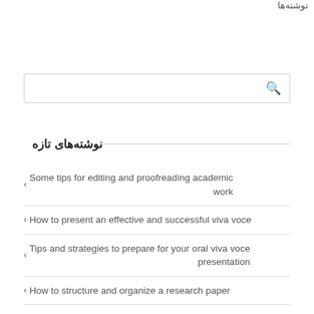نوشته‌ها
[Figure (other): Search input box with magnifying glass icon]
نوشته‌های تازه
Some tips for editing and proofreading academic work
How to present an effective and successful viva voce
Tips and strategies to prepare for your oral viva voce presentation
How to structure and organize a research paper
The Components...